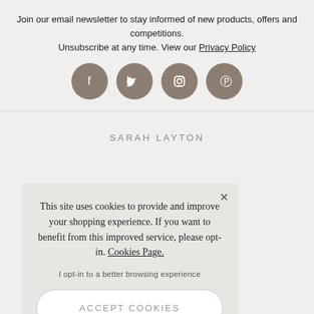Join our email newsletter to stay informed of new products, offers and competitions.
Unsubscribe at any time. View our Privacy Policy
[Figure (other): Four circular social media icons (Facebook, Twitter, Instagram, Pinterest) in brownish-grey color]
SARAH LAYTON
This site uses cookies to provide and improve your shopping experience. If you want to benefit from this improved service, please opt-in. Cookies Page.
I opt-in to a better browsing experience
ACCEPT COOKIES